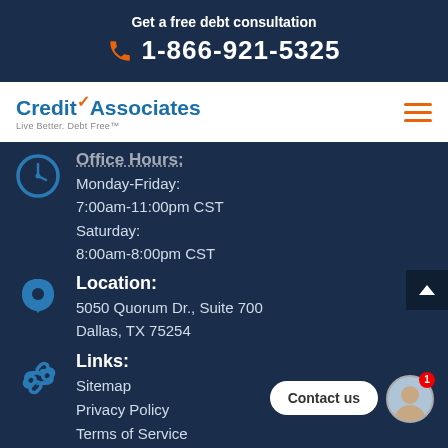Get a free debt consultation
1-866-921-5325
[Figure (logo): CreditAssociates logo with orange checkmark, tagline: Live Better. Debt Free]
[Figure (illustration): Orange hamburger menu icon (three horizontal lines)]
Office Hours:
Monday-Friday:
7:00am-11:00pm CST
Saturday:
8:00am-8:00pm CST
Location:
5050 Quorum Dr., Suite 700
Dallas, TX 75254
Links:
Sitemap
Privacy Policy
Terms of Service
Contact us